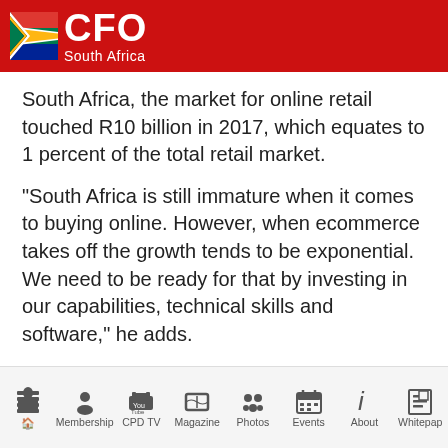CFO South Africa
South Africa, the market for online retail touched R10 billion in 2017, which equates to 1 percent of the total retail market.
“South Africa is still immature when it comes to buying online. However, when ecommerce takes off the growth tends to be exponential. We need to be ready for that by investing in our capabilities, technical skills and software,” he adds.
Cautious African expansion
(partially visible bottom text)
Home | Membership | CPD TV | Magazine | Photos | Events | About | Whitepaper